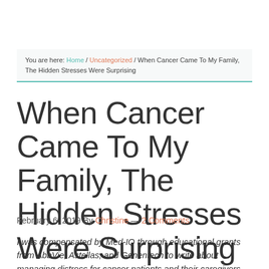You are here: Home / Uncategorized / When Cancer Came To My Family, The Hidden Stresses Were Surprising
When Cancer Came To My Family, The Hidden Stresses Were Surprising
February 6, 2019 By Christine — 2 Comments
I was compensated by Med-IQ through educational grants from AbbVie, Astellas, and Genentech to write about managing distress for cancer patients and their caregivers.